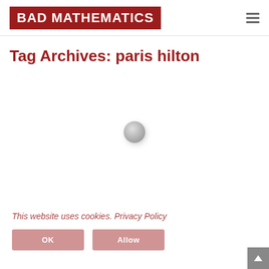BAD MATHEMATICS
Tag Archives: paris hilton
[Figure (other): Loading spinner – a grey glossy circle indicating content is loading]
This website uses cookies. Privacy Policy
OK    Allow